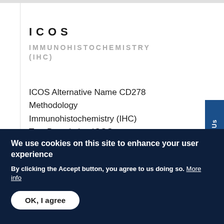ICOS
IMMUNOHISTOCHEMISTRY (IHC)
ICOS Alternative Name CD278
Methodology
Immunohistochemistry (IHC)
Test Description ICOS (Inducible Co-Stimulator
We use cookies on this site to enhance your user experience
By clicking the Accept button, you agree to us doing so. More info
OK, I agree